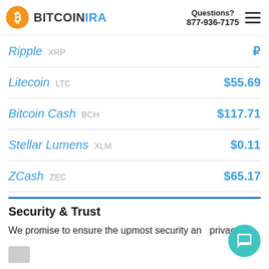BITCOINIRA | Questions? 877-936-7175
Ripple XRP
Litecoin LTC $55.69
Bitcoin Cash BCH $117.71
Stellar Lumens XLM $0.11
ZCash ZEC $65.17
Security & Trust
We promise to ensure the upmost security and privacy.